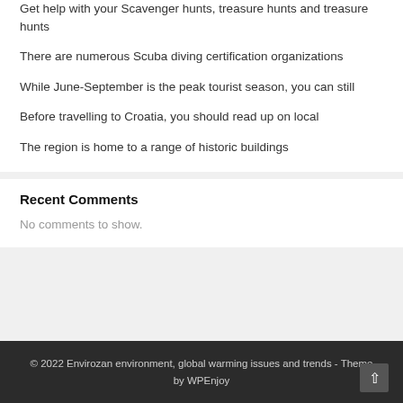Get help with your Scavenger hunts, treasure hunts and treasure hunts
There are numerous Scuba diving certification organizations
While June-September is the peak tourist season, you can still
Before travelling to Croatia, you should read up on local
The region is home to a range of historic buildings
Recent Comments
No comments to show.
© 2022 Envirozan environment, global warming issues and trends - Theme by WPEnjoy